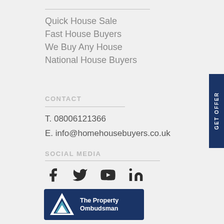Quick House Sale
Fast House Buyers
We Buy Any House
National House Buyers
CONTACT
T. 08006121366
E. info@homehousebuyers.co.uk
SOCIAL MEDIA
[Figure (logo): The Property Ombudsman logo on dark blue background]
GET OFFER